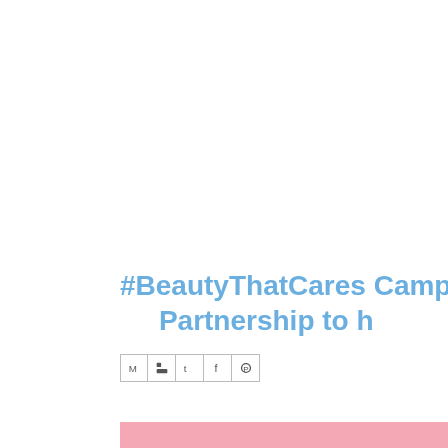#BeautyThatCares Camp... Partnership to h...
[Figure (screenshot): Social media share buttons row: Gmail, Blogger, Twitter, Facebook, Pinterest icons]
[Figure (other): Pink horizontal bar at bottom of page]